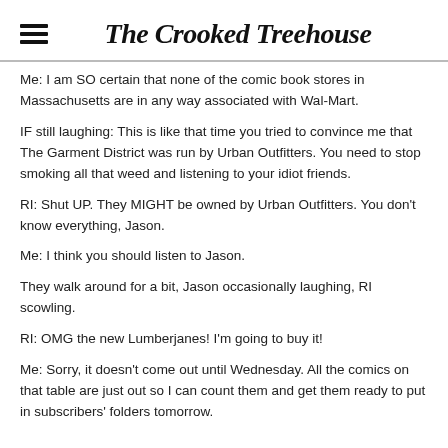The Crooked Treehouse
Me: I am SO certain that none of the comic book stores in Massachusetts are in any way associated with Wal-Mart.
IF still laughing: This is like that time you tried to convince me that The Garment District was run by Urban Outfitters. You need to stop smoking all that weed and listening to your idiot friends.
RI: Shut UP. They MIGHT be owned by Urban Outfitters. You don't know everything, Jason.
Me: I think you should listen to Jason.
They walk around for a bit, Jason occasionally laughing, RI scowling.
RI: OMG the new Lumberjanes! I'm going to buy it!
Me: Sorry, it doesn't come out until Wednesday. All the comics on that table are just out so I can count them and get them ready to put in subscribers' folders tomorrow.